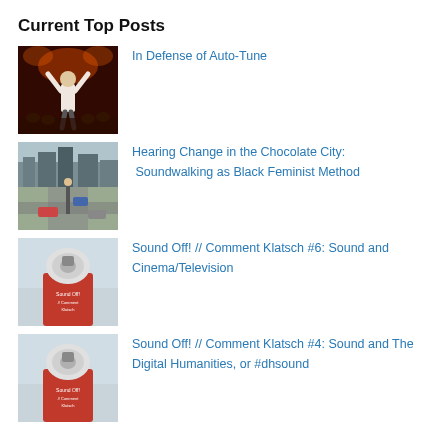Current Top Posts
[Figure (photo): Performer on stage with arms raised, dark warm-toned background]
In Defense of Auto-Tune
[Figure (photo): Aerial view of a city street intersection with traffic]
Hearing Change in the Chocolate City: Soundwalking as Black Feminist Method
[Figure (photo): Person in red shirt with megaphone obscuring their face, Sound Off Comment Klatsch branding]
Sound Off! // Comment Klatsch #6: Sound and Cinema/Television
[Figure (photo): Person in red shirt with megaphone obscuring their face, Sound Off Comment Klatsch branding]
Sound Off! // Comment Klatsch #4: Sound and The Digital Humanities, or #dhsound